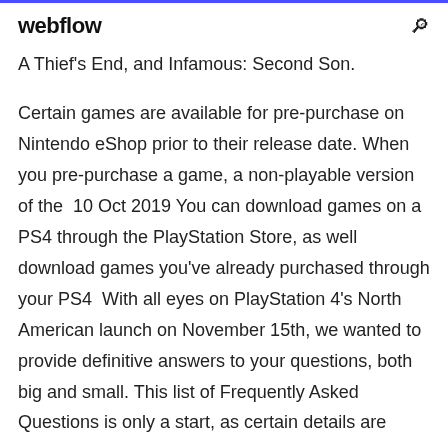webflow
A Thief's End, and Infamous: Second Son.
Certain games are available for pre-purchase on Nintendo eShop prior to their release date. When you pre-purchase a game, a non-playable version of the  10 Oct 2019 You can download games on a PS4 through the PlayStation Store, as well download games you've already purchased through your PS4  With all eyes on PlayStation 4's North American launch on November 15th, we wanted to provide definitive answers to your questions, both big and small. This list of Frequently Asked Questions is only a start, as certain details are